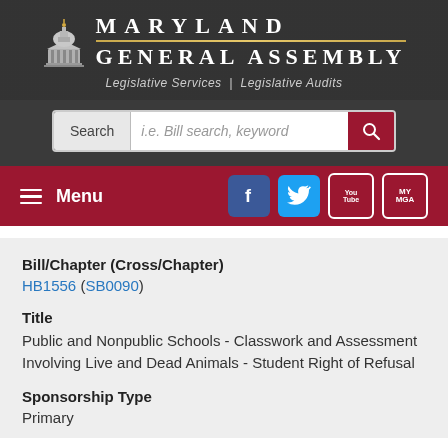[Figure (logo): Maryland General Assembly logo with capitol dome icon, 'MARYLAND GENERAL ASSEMBLY' text, and 'Legislative Services | Legislative Audits' subtitle]
[Figure (screenshot): Search bar with 'Search' label and placeholder 'i.e. Bill search, keyword' and red search button]
[Figure (screenshot): Navigation menu bar with hamburger Menu icon and social media icons for Facebook, Twitter, YouTube, and MyMGA]
Bill/Chapter (Cross/Chapter)
HB1556 (SB0090)
Title
Public and Nonpublic Schools - Classwork and Assessment Involving Live and Dead Animals - Student Right of Refusal
Sponsorship Type
Primary